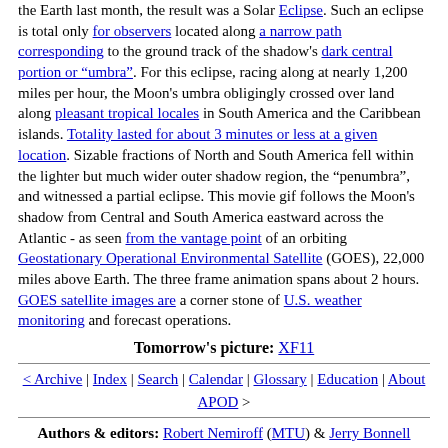the Earth last month, the result was a Solar Eclipse. Such an eclipse is total only for observers located along a narrow path corresponding to the ground track of the shadow's dark central portion or "umbra". For this eclipse, racing along at nearly 1,200 miles per hour, the Moon's umbra obligingly crossed over land along pleasant tropical locales in South America and the Caribbean islands. Totality lasted for about 3 minutes or less at a given location. Sizable fractions of North and South America fell within the lighter but much wider outer shadow region, the "penumbra", and witnessed a partial eclipse. This movie gif follows the Moon's shadow from Central and South America eastward across the Atlantic - as seen from the vantage point of an orbiting Geostationary Operational Environmental Satellite (GOES), 22,000 miles above Earth. The three frame animation spans about 2 hours. GOES satellite images are a corner stone of U.S. weather monitoring and forecast operations.
Tomorrow's picture: XF11
< Archive | Index | Search | Calendar | Glossary | Education | About APOD >
Authors & editors: Robert Nemiroff (MTU) & Jerry Bonnell (USRA)
NASA Technical Rep : Jay Norris. Specific rights apply